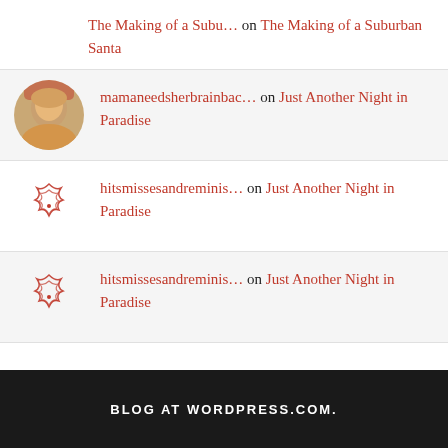The Making of a Subu… on The Making of a Suburban Santa
mamaneedsherbrainbac… on Just Another Night in Paradise
hitsmissesandreminis… on Just Another Night in Paradise
hitsmissesandreminis… on Just Another Night in Paradise
BLOG AT WORDPRESS.COM.